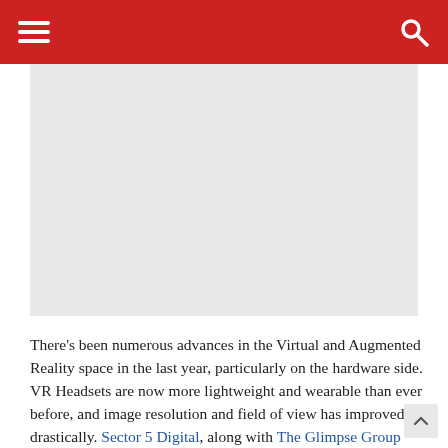[Figure (photo): Gray placeholder image area for a VR/AR headset photo]
There's been numerous advances in the Virtual and Augmented Reality space in the last year, particularly on the hardware side. VR Headsets are now more lightweight and wearable than ever before, and image resolution and field of view has improved drastically. Sector 5 Digital, along with The Glimpse Group (Nasdaq: VRAR), recently had the opportunity to test out some of these revolutionary new headsets and give consumers a first look at the future of Virtual and Augmented Reality.
Offering the highest quality resolution and most intuitive tracking to date, the XR-3 headset from Varjo is an absolute